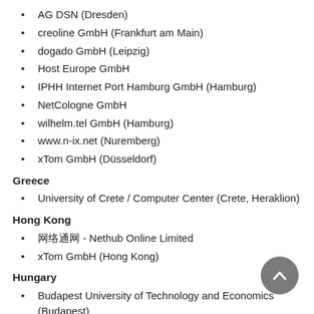AG DSN (Dresden)
creoline GmbH (Frankfurt am Main)
dogado GmbH (Leipzig)
Host Europe GmbH
IPHH Internet Port Hamburg GmbH (Hamburg)
NetCologne GmbH
wilhelm.tel GmbH (Hamburg)
www.n-ix.net (Nuremberg)
xTom GmbH (Düsseldorf)
Greece
University of Crete / Computer Center (Crete, Heraklion)
Hong Kong
网络通 - Nethub Online Limited
xTom GmbH (Hong Kong)
Hungary
Budapest University of Technology and Economics (Budapest)
Indonesia
Politeknik Negeri Banyuwangi
PT Biznet Gio Nusantara (Jakarta)